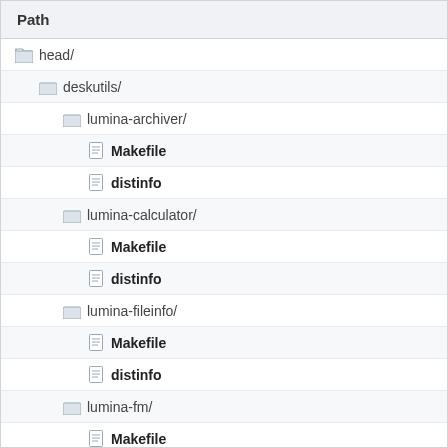Path
head/
deskutils/
lumina-archiver/
Makefile
distinfo
lumina-calculator/
Makefile
distinfo
lumina-fileinfo/
Makefile
distinfo
lumina-fm/
Makefile
distinfo
lumina-mediaplayer/
Makefile
distinfo
lumina-...